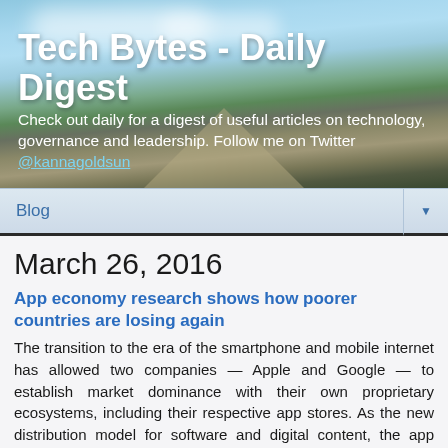[Figure (photo): Header banner with road and sky background photo for Tech Bytes - Daily Digest blog]
Tech Bytes - Daily Digest
Check out daily for a digest of useful articles on technology, governance and leadership. Follow me on Twitter @kannagoldsun
Blog
March 26, 2016
App economy research shows how poorer countries are losing again
The transition to the era of the smartphone and mobile internet has allowed two companies — Apple and Google — to establish market dominance with their own proprietary ecosystems, including their respective app stores. As the new distribution model for software and digital content, the app stores have centralised the vast majority of mobile commerce within Android and Google platforms. This